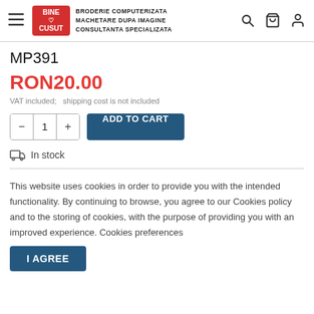BINE CUSUT — BRODERIE COMPUTERIZATA MACHETARE DUPA IMAGINE CONSULTANTA SPECIALIZATA
MP391
RON20.00
VAT included;   shipping cost is not included
ADD TO CART
In stock
This website uses cookies in order to provide you with the intended functionality. By continuing to browse, you agree to our Cookies policy and to the storing of cookies, with the purpose of providing you with an improved experience. Cookies preferences
I AGREE